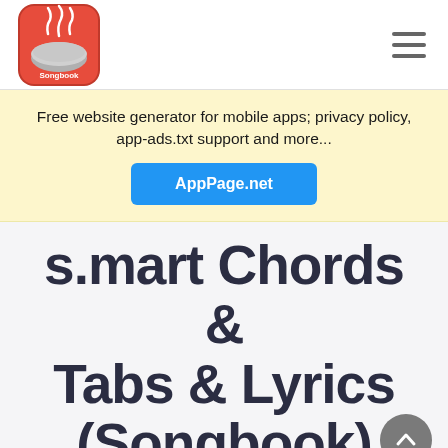[Figure (logo): s.mart Chords Songbook app icon — red and grey rounded square with guitar/bowl icon]
Free website generator for mobile apps; privacy policy, app-ads.txt support and more...
AppPage.net
s.mart Chords & Tabs & Lyrics (Songbook)
Songbook for chords, tabs and lyrics of the